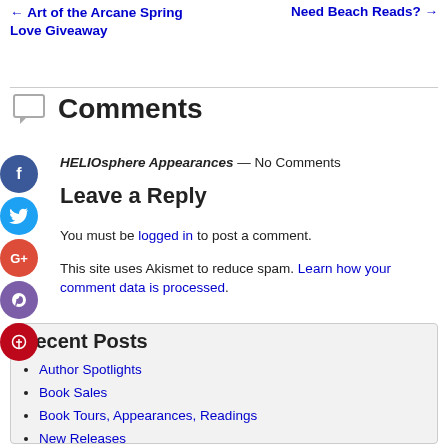← Art of the Arcane Spring Love Giveaway    Need Beach Reads? →
Comments
HELIOsphere Appearances — No Comments
Leave a Reply
You must be logged in to post a comment.
This site uses Akismet to reduce spam. Learn how your comment data is processed.
Recent Posts
Author Spotlights
Book Sales
Book Tours, Appearances, Readings
New Releases